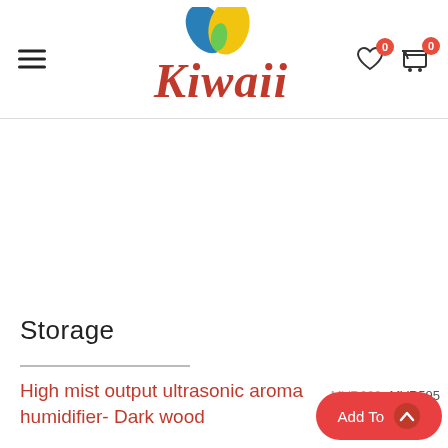[Figure (logo): Kiwaii e-commerce website header with butterfly logo, hamburger menu, wishlist and cart icons with 0 badges]
Storage
High mist output ultrasonic aroma humidifier- Dark wood
MVR600  MVR595
Add To